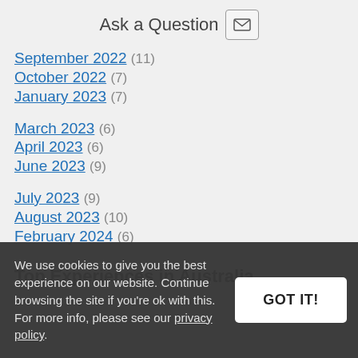Ask a Question
September 2022 (11)
October 2022 (7)
January 2023 (7)
March 2023 (6)
April 2023 (6)
June 2023 (9)
July 2023 (9)
August 2023 (10)
February 2024 (6)
Top Experiences in Australia
We use cookies to give you the best experience on our website. Continue browsing the site if you're ok with this. For more info, please see our privacy policy.